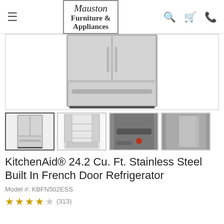Mauston Furniture & Appliances
[Figure (photo): KitchenAid stainless steel built-in French door refrigerator, main product image showing lower freezer drawer]
[Figure (photo): Thumbnail 1: Front view of KitchenAid French door refrigerator]
[Figure (photo): Thumbnail 2: Interior open view of KitchenAid French door refrigerator]
[Figure (photo): Thumbnail 3: Close-up detail of refrigerator handle/bottom]
[Figure (photo): Thumbnail 4: Side profile view of KitchenAid refrigerator]
KitchenAid® 24.2 Cu. Ft. Stainless Steel Built In French Door Refrigerator
Model #: KBFN502ESS